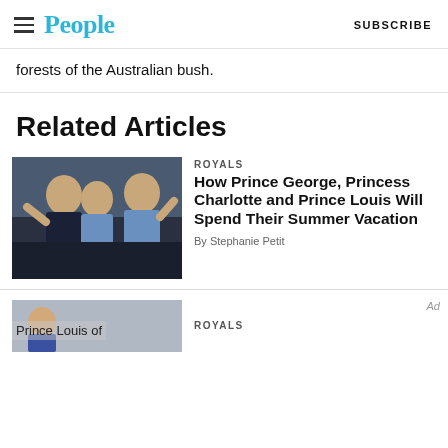People | SUBSCRIBE
forests of the Australian bush.
Related Articles
[Figure (photo): Photo of Prince George, Prince Louis, and Princess Charlotte waving from a carriage]
ROYALS
How Prince George, Princess Charlotte and Prince Louis Will Spend Their Summer Vacation
By Stephanie Petit
[Figure (photo): Thumbnail photo of Prince Louis]
ROYALS
Ad